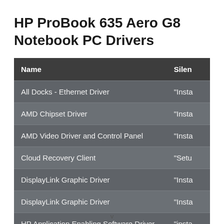HP ProBook 635 Aero G8 Notebook PC Drivers
| Name | Silen |
| --- | --- |
| All Docks - Ethernet Driver | "Insta |
| AMD Chipset Driver | "Insta |
| AMD Video Driver and Control Panel | "Insta |
| Cloud Recovery Client | "Setu |
| DisplayLink Graphic Driver | "Insta |
| DisplayLink Graphic Driver | "Insta |
| HP Application Enabling Software Driver | "insta |
v